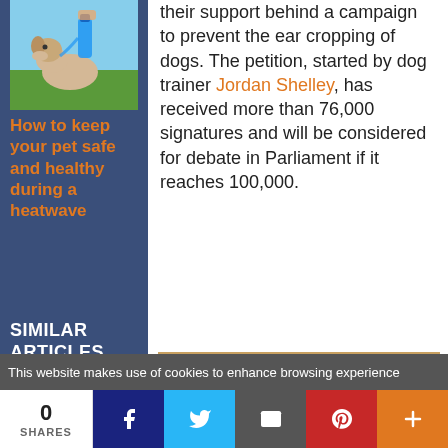[Figure (photo): A dog being given water from a bottle outdoors in a field]
How to keep your pet safe and healthy during a heatwave
SIMILAR ARTICLES
[Figure (photo): Two small Chihuahua puppies sitting together]
their support behind a campaign to prevent the ear cropping of dogs. The petition, started by dog trainer Jordan Shelley, has received more than 76,000 signatures and will be considered for debate in Parliament if it reaches 100,000.
READ ALSO:
This website makes use of cookies to enhance browsing experience
0
SHARES